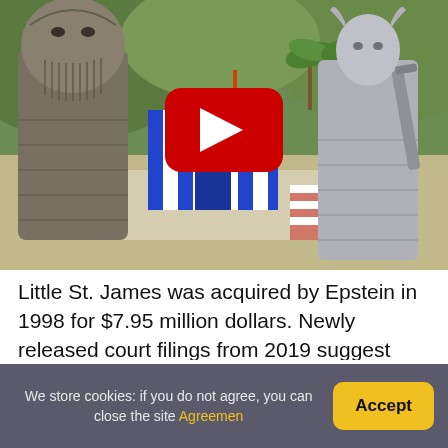[Figure (screenshot): YouTube video thumbnail showing aerial view of Little St. James island with a blue and white striped temple building, flanked by two ancient Assyrian/Babylonian style statues. A large red YouTube play button is centered on the thumbnail. Palm trees and tropical landscape visible in background.]
Little St. James was acquired by Epstein in 1998 for $7.95 million dollars. Newly released court filings from 2019 suggest that the island's valuation is $63,874,223 dollars.
We store cookies: if you do not agree, you can close the site Agreemen